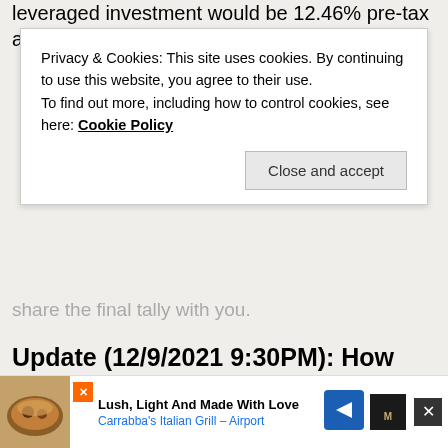leveraged investment would be 12.46% pre-tax and
Privacy & Cookies: This site uses cookies. By continuing to use this website, you agree to their use. To find out more, including how to control cookies, see here: Cookie Policy
share the final tally with you.
Update (12/9/2021 9:30PM): How will this impact your margin?
Since people asked in the comments section: how will this impact my account margin? Let's go through an example. Someone has $100,000 invested in stocks (or ETFs), $0 in cash, and gets a box spread “loan” which deposits $20,000 into the account. If the money is just sitting in cash, nothing
[Figure (infographic): Advertisement banner: food image (restaurant dish), arrow navigation icon, text 'Lush, Light And Made With Love / Carrabba's Italian Grill – Airport', close button X, and Marriott logo]